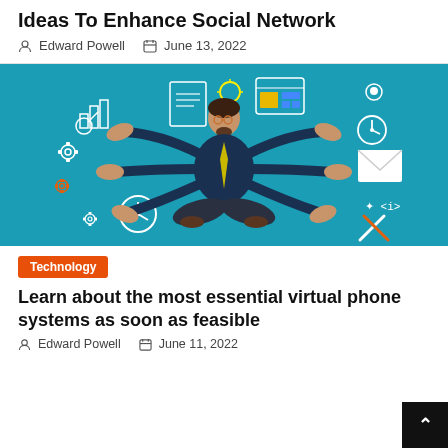Ideas To Enhance Social Network
Edward Powell   June 13, 2022
[Figure (illustration): A cartoon businessman in a suit meditating with multiple arms holding various digital/technology icons on a teal background, representing multitasking and social network management.]
Technology
Learn about the most essential virtual phone systems as soon as feasible
Edward Powell   June 11, 2022